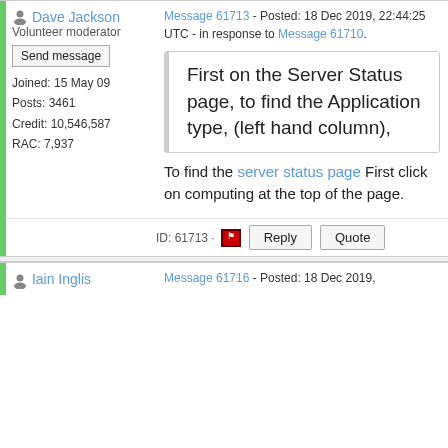Dave Jackson - Volunteer moderator
Message 61713 - Posted: 18 Dec 2019, 22:44:25 UTC - in response to Message 61710.
Send message
Joined: 15 May 09
Posts: 3461
Credit: 10,546,587
RAC: 7,937
First on the Server Status page, to find the Application type, (left hand column),
To find the server status page First click on computing at the top of the page.
ID: 61713 ·
Reply
Quote
Iain Inglis
Message 61716 - Posted: 18 Dec 2019,